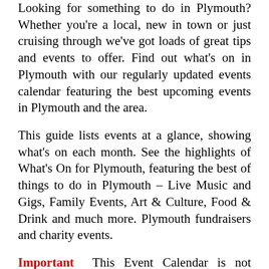Looking for something to do in Plymouth? Whether you're a local, new in town or just cruising through we've got loads of great tips and events to offer. Find out what's on in Plymouth with our regularly updated events calendar featuring the best upcoming events in Plymouth and the area.
This guide lists events at a glance, showing what's on each month. See the highlights of What's On for Plymouth, featuring the best of things to do in Plymouth – Live Music and Gigs, Family Events, Art & Culture, Food & Drink and much more. Plymouth fundraisers and charity events.
Important This Event Calendar is not maintained on a daily basis and some events may have changed dates or are no longer happening. Please double-check the event websites for the most up-to-date information.